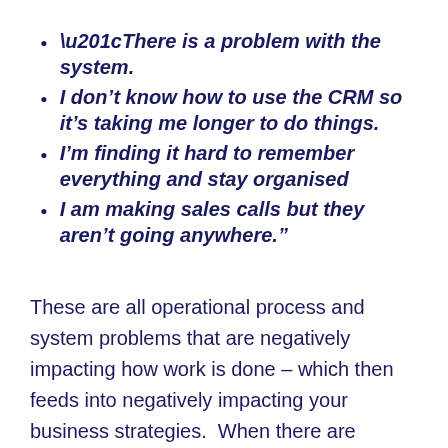“There is a problem with the system.
I don’t know how to use the CRM so it’s taking me longer to do things.
I’m finding it hard to remember everything and stay organised
I am making sales calls but they aren’t going anywhere.”
These are all operational process and system problems that are negatively impacting how work is done – which then feeds into negatively impacting your business strategies.  When there are